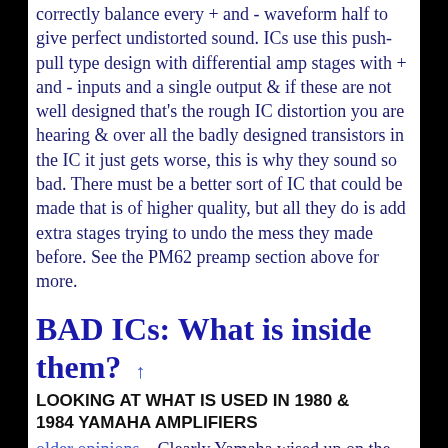correctly balance every + and - waveform half to give perfect undistorted sound. ICs use this push-pull type design with differential amp stages with + and - inputs and a single output & if these are not well designed that's the rough IC distortion you are hearing & over all the badly designed transistors in the IC it just gets worse, this is why they sound so bad. There must be a better sort of IC that could be made that is of higher quality, but all they do is add extra stages trying to undo the mess they made before. See the PM62 preamp section above for more.
BAD ICs: What is inside them? ↑
LOOKING AT WHAT IS USED IN 1980 & 1984 YAMAHA AMPLIFIERS
older opinions... Clearly Yamaha wised up on the ICs as the 1985 Yamaha A-720 amplifier is